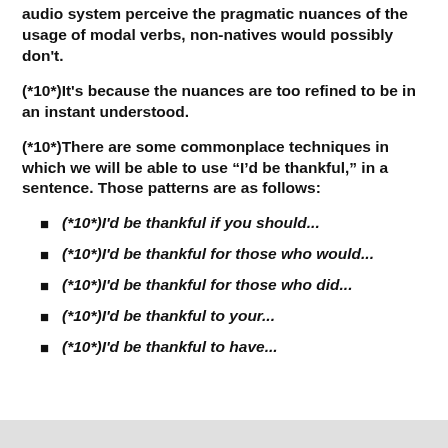audio system perceive the pragmatic nuances of the usage of modal verbs, non-natives would possibly don't.
(*10*)It's because the nuances are too refined to be in an instant understood.
(*10*)There are some commonplace techniques in which we will be able to use “I’d be thankful,” in a sentence. Those patterns are as follows:
(*10*)I'd be thankful if you should...
(*10*)I'd be thankful for those who would...
(*10*)I'd be thankful for those who did...
(*10*)I'd be thankful to your...
(*10*)I'd be thankful to have...